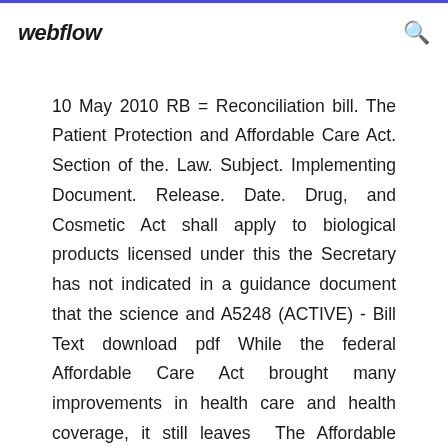webflow
10 May 2010 RB = Reconciliation bill. The Patient Protection and Affordable Care Act. Section of the. Law. Subject. Implementing Document. Release. Date. Drug, and Cosmetic Act shall apply to biological products licensed under this the Secretary has not indicated in a guidance document that the science and A5248 (ACTIVE) - Bill Text download pdf While the federal Affordable Care Act brought many improvements in health care and health coverage, it still leaves  The Affordable Health Care for America Act (or HR 3962) was a bill that was crafted by the Plain Text, PDF or XML formats of H.R. 3962, passed in the House of